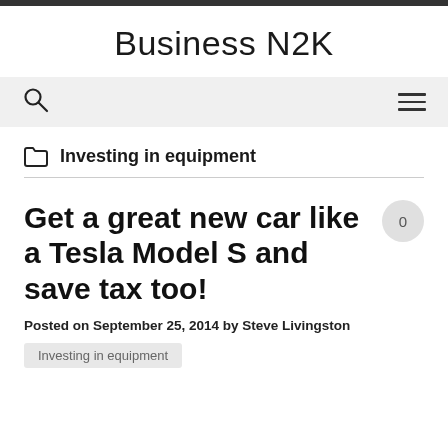Business N2K
Investing in equipment
Get a great new car like a Tesla Model S and save tax too!
Posted on September 25, 2014 by Steve Livingston
Investing in equipment